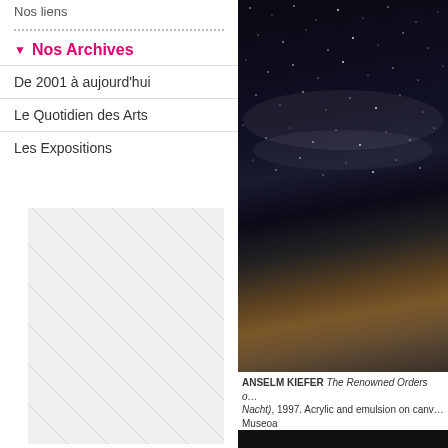Nos liens
▼ Nos Archives
De 2001 à aujourd'hui
Le Quotidien des Arts
Les Expositions
[Figure (photo): Close-up detail of Anselm Kiefer artwork showing dark night sky with white speckles suggesting stars, and a lower portion with earthy brown and grey tones.]
ANSELM KIEFER The Renowned Orders of the Night (Die Berühmten Orden der Nacht), 1997. Acrylic and emulsion on canvas. Guggenheim Bilbao Museoa